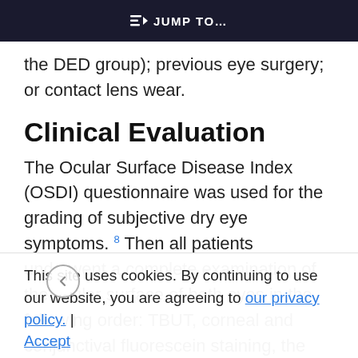≡D JUMP TO…
the DED group); previous eye surgery; or contact lens wear.
Clinical Evaluation
The Ocular Surface Disease Index (OSDI) questionnaire was used for the grading of subjective dry eye symptoms. 8 Then all patients underwent a complete examination of the ocular surface of both eyes in the following order: TBUT, corneal and conjunctival fluorescein staining, the Schirmer test, corneal sensitivity evaluation, and IVCM analysis of
This site uses cookies. By continuing to use our website, you are agreeing to our privacy policy. | Accept
minutes with the patient's eyes closed. TBUT was